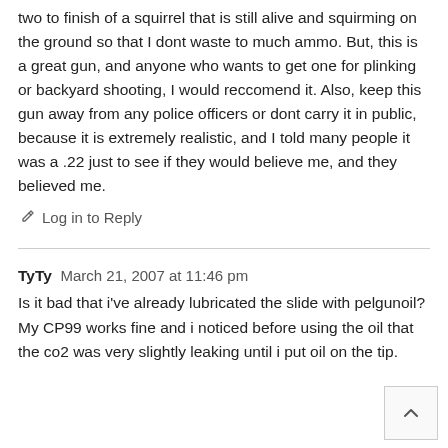two to finish of a squirrel that is still alive and squirming on the ground so that I dont waste to much ammo. But, this is a great gun, and anyone who wants to get one for plinking or backyard shooting, I would reccomend it. Also, keep this gun away from any police officers or dont carry it in public, because it is extremely realistic, and I told many people it was a .22 just to see if they would believe me, and they believed me.
Log in to Reply
TyTy  March 21, 2007 at 11:46 pm
Is it bad that i've already lubricated the slide with pelgunoil?
My CP99 works fine and i noticed before using the oil that the co2 was very slightly leaking until i put oil on the tip.